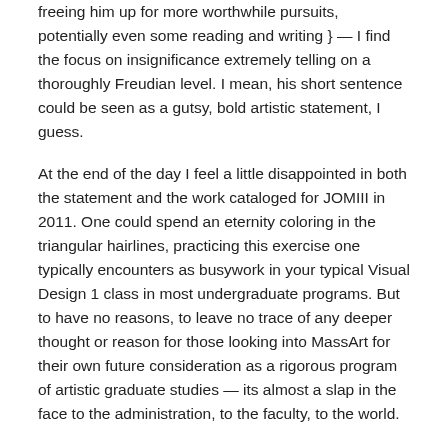freeing him up for more worthwhile pursuits, potentially even some reading and writing } — I find the focus on insignificance extremely telling on a thoroughly Freudian level. I mean, his short sentence could be seen as a gutsy, bold artistic statement, I guess.
At the end of the day I feel a little disappointed in both the statement and the work cataloged for JOMIII in 2011. One could spend an eternity coloring in the triangular hairlines, practicing this exercise one typically encounters as busywork in your typical Visual Design 1 class in most undergraduate programs. But to have no reasons, to leave no trace of any deeper thought or reason for those looking into MassArt for their own future consideration as a rigorous program of artistic graduate studies — its almost a slap in the face to the administration, to the faculty, to the world.
But its not. No, don't worry. I'm sure that the statement came with very little thought. Its not a 'thoughtful' statement. I